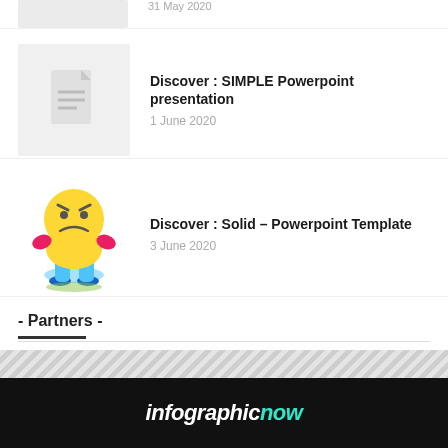[Figure (illustration): Gray document icon thumbnail, partially cropped at top]
Discover : SIMPLE Powerpoint presentation
1 June 2020
[Figure (illustration): Yellow cartoon angry/sad face character sitting with arms folded, with small landscape at bottom]
Discover : Solid – Powerpoint Template
3 June 2020
- Partners -
[Figure (illustration): Footer logo: infographicnow in white and teal on black background]
infographicnow